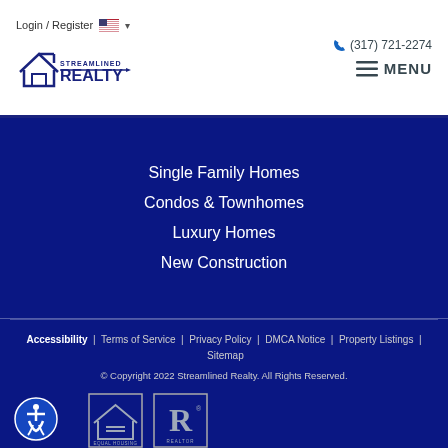Login / Register  (317) 721-2274
[Figure (logo): Streamlined Realty logo with house icon and text]
Single Family Homes
Condos & Townhomes
Luxury Homes
New Construction
Accessibility | Terms of Service | Privacy Policy | DMCA Notice | Property Listings | Sitemap
© Copyright 2022 Streamlined Realty. All Rights Reserved.